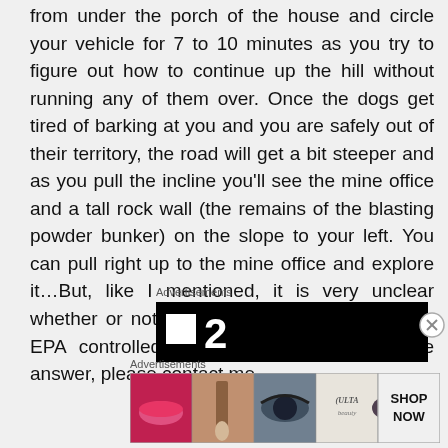from under the porch of the house and circle your vehicle for 7 to 10 minutes as you try to figure out how to continue up the hill without running any of them over. Once the dogs get tired of barking at you and you are safely out of their territory, the road will get a bit steeper and as you pull the incline you'll see the mine office and a tall rock wall (the remains of the blasting powder bunker) on the slope to your left. You can pull right up to the mine office and explore it…But, like I mentioned, it is very unclear whether or not the site is on public, private or EPA controlled land.  If anyone knows the answer, please contact me.
Advertisements
[Figure (other): Black advertisement banner with white square icon and number 2]
Advertisements
[Figure (other): Ulta beauty advertisement banner showing makeup images (lips, brush, eye, Ulta logo, eye) with SHOP NOW button]